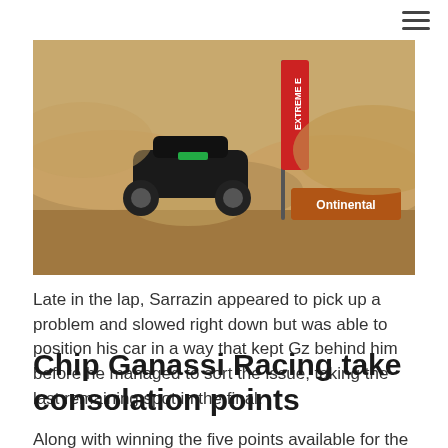[Figure (photo): An off-road electric racing car (black with green accents) airborne on a sandy dirt track, with a Continental sponsor banner and an Extreme E flag in the background.]
Late in the lap, Sarrazin appeared to pick up a problem and slowed right down but was able to position his car in a way that kept Gz behind him before he managed to sort the issue, taking the last remaining spot in the final.
Chip Ganassi Racing take consolation points
Along with winning the five points available for the fastest